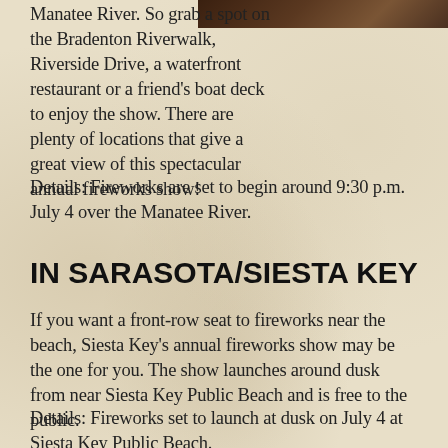[Figure (photo): Dark photograph strip visible at top right corner of page]
Manatee River. So grab a spot on the Bradenton Riverwalk, Riverside Drive, a waterfront restaurant or a friend's boat deck to enjoy the show. There are plenty of locations that give a great view of this spectacular annual fireworks show!
Details: Fireworks are set to begin around 9:30 p.m. July 4 over the Manatee River.
IN SARASOTA/SIESTA KEY
If you want a front-row seat to fireworks near the beach, Siesta Key's annual fireworks show may be the one for you. The show launches around dusk from near Siesta Key Public Beach and is free to the public.
Details: Fireworks set to launch at dusk on July 4 at Siesta Key Public Beach.